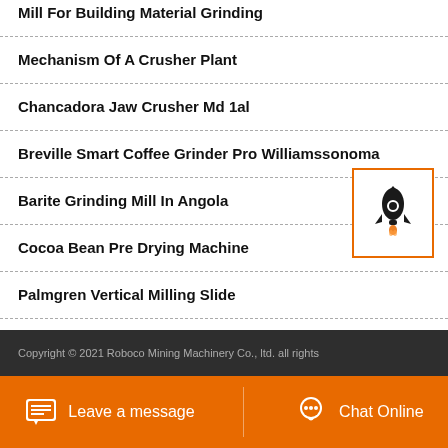Mill For Building Material Grinding
Mechanism Of A Crusher Plant
Chancadora Jaw Crusher Md 1al
Breville Smart Coffee Grinder Pro Williamssonoma
Barite Grinding Mill In Angola
Cocoa Bean Pre Drying Machine
Palmgren Vertical Milling Slide
[Figure (illustration): Rocket icon button with orange border]
Copyright © 2021 Roboco Mining Machinery Co., ltd. all rights
Leave a message   Chat Online